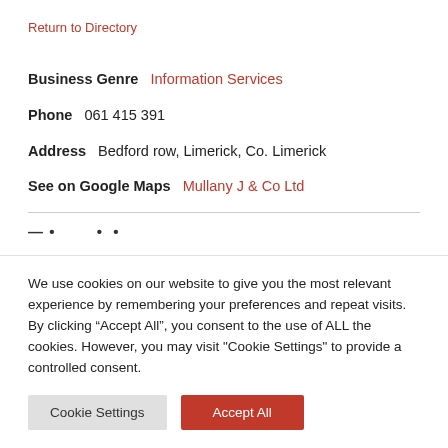Return to Directory
Business Genre   Information Services
Phone   061 415 391
Address   Bedford row, Limerick, Co. Limerick
See on Google Maps   Mullany J & Co Ltd
— •          •  •
We use cookies on our website to give you the most relevant experience by remembering your preferences and repeat visits. By clicking "Accept All", you consent to the use of ALL the cookies. However, you may visit "Cookie Settings" to provide a controlled consent.
Cookie Settings
Accept All